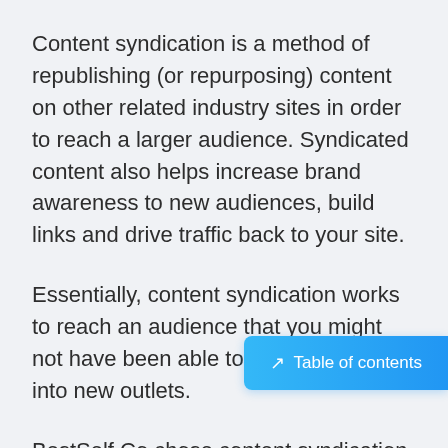Content syndication is a method of republishing (or repurposing) content on other related industry sites in order to reach a larger audience. Syndicated content also helps increase brand awareness to new audiences, build links and drive traffic back to your site.
Essentially, content syndication works to reach an audience that you might not have been able to reach by tapping into new outlets.
BestSelf Co chose content syndication as a part of their strategy with content syndication because it allowed them to get audiences they couldn't normally get